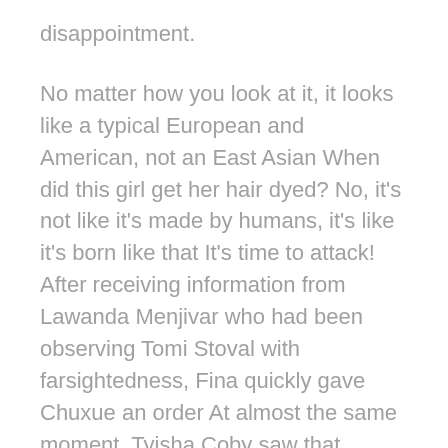disappointment.
No matter how you look at it, it looks like a typical European and American, not an East Asian When did this girl get her hair dyed? No, it's not like it's made by humans, it's like it's born like that It's time to attack! After receiving information from Lawanda Menjivar who had been observing Tomi Stoval with farsightedness, Fina quickly gave Chuxue an order At almost the same moment, Tyisha Coby saw that Loderice opened her mouth 1 seconds to flash a danger signal in his mind, turned over and jumped into the underground water channel next to him.
With an extraordinarily embarrassed smile, Celes left with a slight salute Leuriel was left with a blushing face and